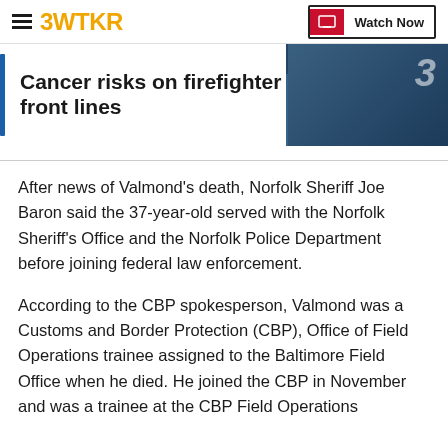3WTKR  Watch Now
[Figure (photo): News banner image showing a firefighter scene with a blue-toned background, overlaid with a white title box containing article headline text]
Cancer risks on firefighter front lines
After news of Valmond's death, Norfolk Sheriff Joe Baron said the 37-year-old served with the Norfolk Sheriff's Office and the Norfolk Police Department before joining federal law enforcement.
According to the CBP spokesperson, Valmond was a Customs and Border Protection (CBP), Office of Field Operations trainee assigned to the Baltimore Field Office when he died. He joined the CBP in November and was a trainee at the CBP Field Operations